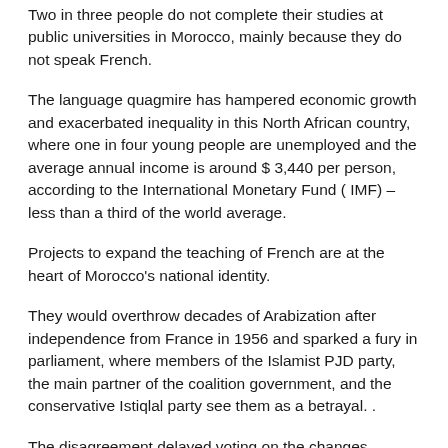Two in three people do not complete their studies at public universities in Morocco, mainly because they do not speak French.
The language quagmire has hampered economic growth and exacerbated inequality in this North African country, where one in four young people are unemployed and the average annual income is around $ 3,440 per person, according to the International Monetary Fund ( IMF) – less than a third of the world average.
Projects to expand the teaching of French are at the heart of Morocco's national identity.
They would overthrow decades of Arabization after independence from France in 1956 and sparked a fury in parliament, where members of the Islamist PJD party, the main partner of the coalition government, and the conservative Istiqlal party see them as a betrayal. .
The disagreement delayed voting on the changes.
“Openness to the world should not be used as an excuse to impose the primacy of French”, declared Hassan Asilil, deputy of the PJD.